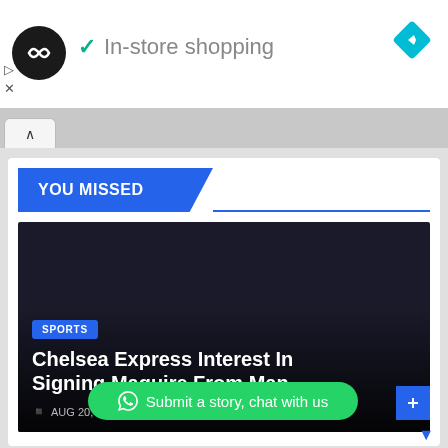[Figure (screenshot): App logo - black circle with double arrow icon]
✓ In-store shopping
[Figure (logo): Blue diamond navigation/directions icon]
[Figure (screenshot): Browser tab bar with caret up icon]
YOU MISSED
[Figure (photo): Dark background sports article image area]
SPORTS
Chelsea Express Interest In Signing Maguire From Man
AUG 20, 20
Submit a story, chat with us